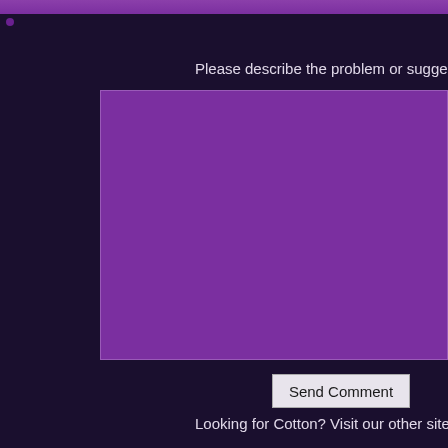Please describe the problem or suggestion
[Figure (screenshot): Purple textarea input box for user feedback]
Send Comment
Looking for Cotton? Visit our other site